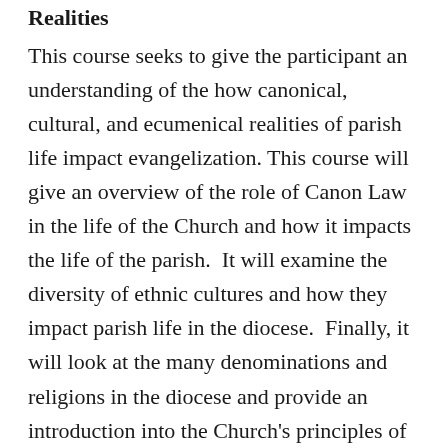Realities
This course seeks to give the participant an understanding of the how canonical, cultural, and ecumenical realities of parish life impact evangelization. This course will give an overview of the role of Canon Law in the life of the Church and how it impacts the life of the parish.  It will examine the diversity of ethnic cultures and how they impact parish life in the diocese.  Finally, it will look at the many denominations and religions in the diocese and provide an introduction into the Church's principles of ecumenism.
KLC103 Principles of Parish Leadership
This course gives a general introduction to the skills, talents and spiritual qualities needed for